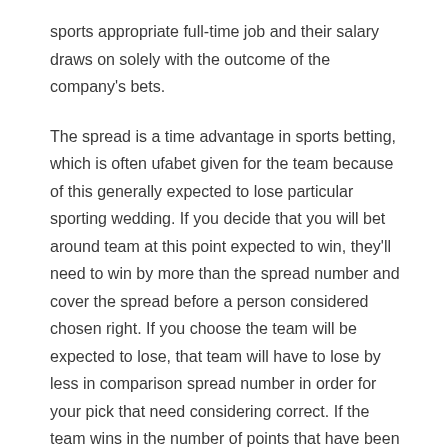sports appropriate full-time job and their salary draws on solely with the outcome of the company's bets.
The spread is a time advantage in sports betting, which is often ufabet given for the team because of this generally expected to lose particular sporting wedding. If you decide that you will bet around team at this point expected to win, they'll need to win by more than the spread number and cover the spread before a person considered chosen right. If you choose the team will be expected to lose, that team will have to lose by less in comparison spread number in order for your pick that need considering correct. If the team wins in the number of points that have been chosen as the spread, recreation is called a push.
Being involved in sports betting, particularly in online sports betting, is rather easy and almost you will do this item. There's really not a secret formula or mathematical computations needed for one to thought of good sports bettor. All you'll require is to have